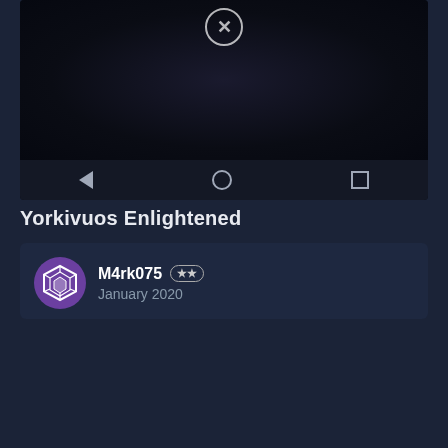[Figure (screenshot): Dark screenshot with close (X) button at top center, dark background with faint map/terrain, navigation bar at bottom with back triangle, home circle, and square buttons]
Yorkivuos Enlightened
[Figure (screenshot): User comment card showing avatar with Ingress Enlightened logo, username M4rk075 with two-star badge, dated January 2020, containing a nested screenshot from Ingress app with vodafone IT 4G 11:17 44% status bar and 'WHAT IS THE TESSELLATION?' card]